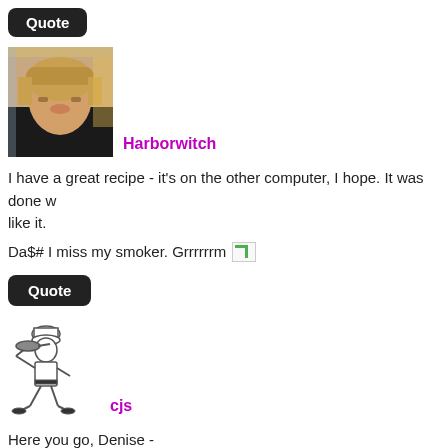Quote
[Figure (photo): Avatar photo of a woman with short blonde hair and glasses]
Harborwitch
I have a great recipe - it's on the other computer, I hope. It was done w... like it.
Da$# I miss my smoker. Grrrrrrm [image]
Quote
[Figure (illustration): Stick figure illustration of a chef carrying a pan]
cjs
Here you go, Denise -